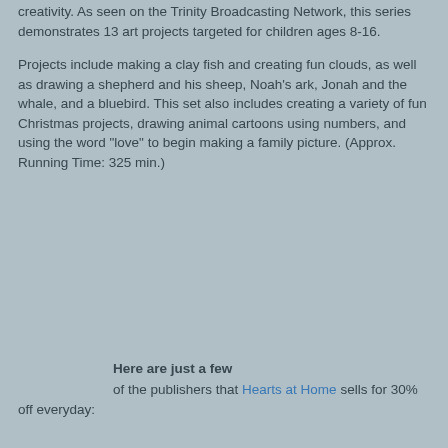creativity. As seen on the Trinity Broadcasting Network, this series demonstrates 13 art projects targeted for children ages 8-16.
Projects include making a clay fish and creating fun clouds, as well as drawing a shepherd and his sheep, Noah's ark, Jonah and the whale, and a bluebird. This set also includes creating a variety of fun Christmas projects, drawing animal cartoons using numbers, and using the word "love" to begin making a family picture. (Approx. Running Time: 325 min.)
Here are just a few of the publishers that Hearts at Home sells for 30% off everyday: